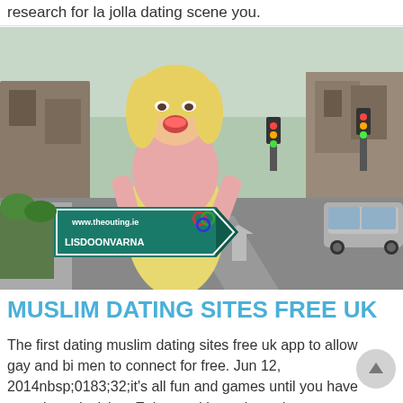research for la jolla dating scene you.
[Figure (photo): Person in pink and yellow outfit holding a green directional road sign reading 'www.theouting.ie LISDOONVARNA', standing on a street with buildings and cars in the background, giving a thumbs up.]
MUSLIM DATING SITES FREE UK
The first dating muslim dating sites free uk app to allow gay and bi men to connect for free. Jun 12, 2014nbsp;0183;32;it's all fun and games until you have to make a decision. Enjoy, and let us know how we can